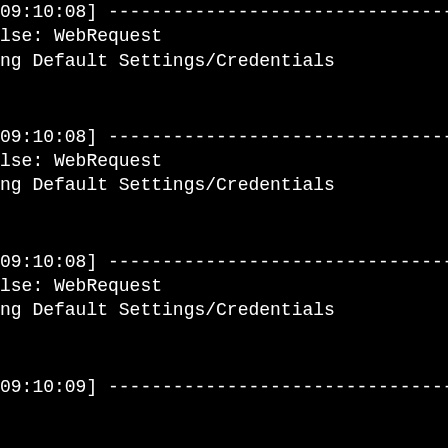09:10:08] -----------------------------------------------------------
lse: WebRequest
ng Default Settings/Credentials
09:10:08] -----------------------------------------------------------
lse: WebRequest
ng Default Settings/Credentials
09:10:08] -----------------------------------------------------------
lse: WebRequest
ng Default Settings/Credentials
09:10:09] -----------------------------------------------------------